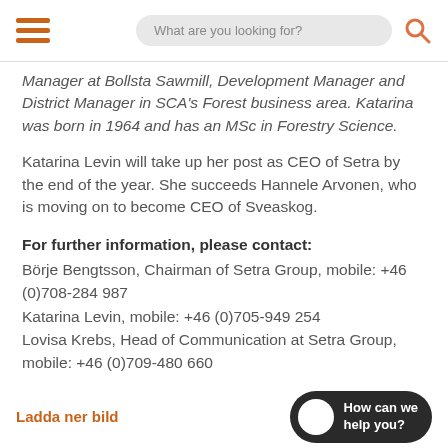What are you looking for?
Manager at Bollsta Sawmill, Development Manager and District Manager in SCA's Forest business area. Katarina was born in 1964 and has an MSc in Forestry Science.
Katarina Levin will take up her post as CEO of Setra by the end of the year. She succeeds Hannele Arvonen, who is moving on to become CEO of Sveaskog.
For further information, please contact:
Börje Bengtsson, Chairman of Setra Group, mobile: +46 (0)708-284 987
Katarina Levin, mobile: +46 (0)705-949 254
Lovisa Krebs, Head of Communication at Setra Group, mobile: +46 (0)709-480 660
Ladda ner bild